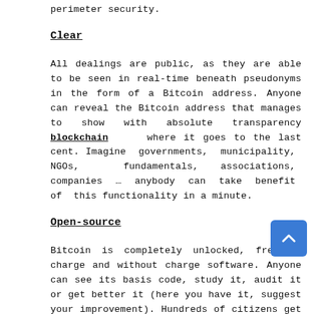perimeter security.
Clear
All dealings are public, as they are able to be seen in real-time beneath pseudonyms in the form of a Bitcoin address. Anyone can reveal the Bitcoin address that manages to show with absolute transparency blockchain where it goes to the last cent. Imagine governments, municipality, NGOs, fundamentals, associations, companies … anybody can take benefit of this functionality in a minute.
Open-source
Bitcoin is completely unlocked, free of charge and without charge software. Anyone can see its basis code, study it, audit it or get better it (here you have it, suggest your improvement). Hundreds of citizens get better it on a every day basis: some of the smartest brains on the planet do better on a daily basis under an environment of democratic consensus.
Based on consensus